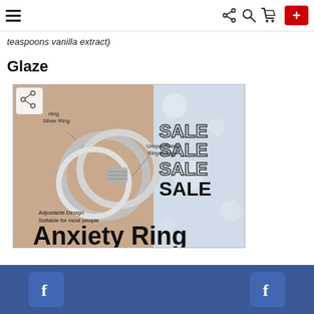Navigation bar with hamburger menu, share, search, cart icons and red + button
teaspoons vanilla extract)
Glaze
[Figure (photo): Advertisement image for an Anxiety Ring showing a sterling silver adjustable rotating ring design with labels: Sterling Silver Ring, Unique Rotating Ring Design, Adjustable Design. Suitable for most people. Large bold text reads Anxiety Ring. Right side shows SALE SALE SALE SALE text. Background is pinkish-brown with sparkle/snow bokeh effect.]
Facebook share buttons on blue bar